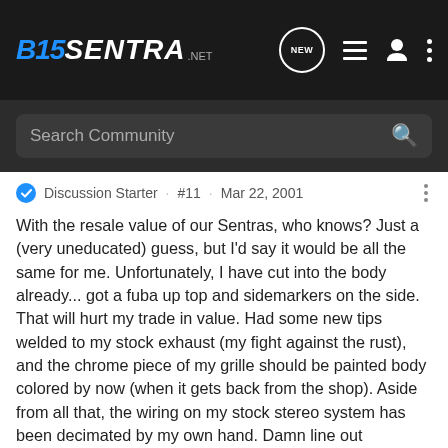B15 SENTRA .NET
Discussion Starter · #11 · Mar 22, 2001
With the resale value of our Sentras, who knows? Just a (very uneducated) guess, but I'd say it would be all the same for me. Unfortunately, I have cut into the body already... got a fuba up top and sidemarkers on the side. That will hurt my trade in value. Had some new tips welded to my stock exhaust (my fight against the rust), and the chrome piece of my grille should be painted body colored by now (when it gets back from the shop). Aside from all that, the wiring on my stock stereo system has been decimated by my own hand. Damn line out converters. So you tell me. Would it be more economical for me to trade my car in? Or just do a swap? I figure it'll be the same thing either way. Besides... I'm too lazy to put the stock springs back on.